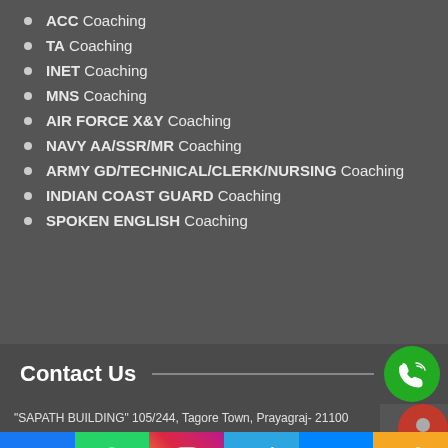ACC Coaching
TA Coaching
INET Coaching
MNS Coaching
AIR FORCE X&Y Coaching
NAVY AA/SSR/MR Coaching
ARMY GD/TECHNICAL/CLERK/NURSING Coaching
INDIAN COAST GUARD Coaching
SPOKEN ENGLISH Coaching
Contact Us
"SAPATH BUILDING" 105/244, Tagore Town, Prayagraj- 21100
[Figure (infographic): Social media footer bar with Facebook, WhatsApp, Instagram, Telegram, Messenger, Share icons]